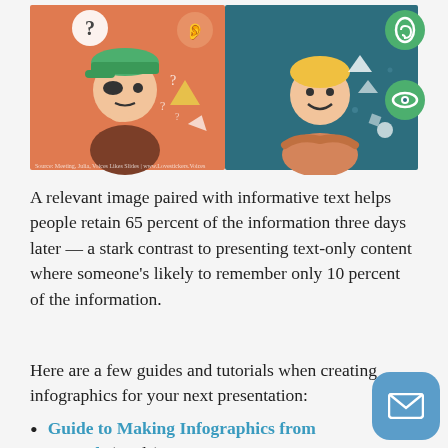[Figure (illustration): Two-panel illustration: left panel (orange background) shows a boy with a cap and question marks/shapes floating around him, with a question mark speech bubble; right panel (teal background) shows a smiling person with floating shapes, ear icon, and eye icon in green circles.]
A relevant image paired with informative text helps people retain 65 percent of the information three days later — a stark contrast to presenting text-only content where someone's likely to remember only 10 percent of the information.
Here are a few guides and tutorials when creating infographics for your next presentation:
Guide to Making Infographics from Scratch (guide)